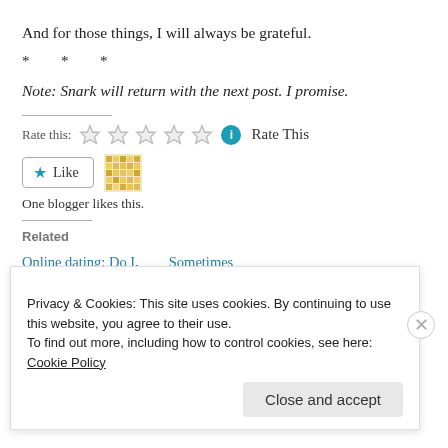And for those things, I will always be grateful.
* * *
Note: Snark will return with the next post. I promise.
Rate this: [stars] Rate This
★ Like  [blogger avatar]
One blogger likes this.
Related
Online dating: Do I,    Sometimes
Privacy & Cookies: This site uses cookies. By continuing to use this website, you agree to their use.
To find out more, including how to control cookies, see here: Cookie Policy
Close and accept